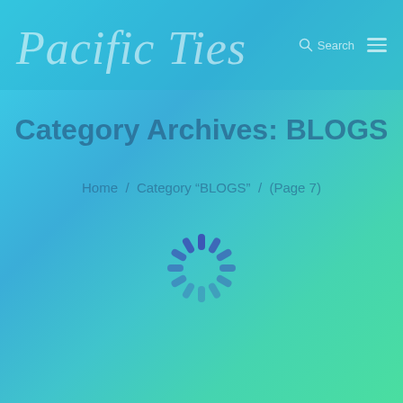Pacific Ties
Category Archives: BLOGS
Home / Category “BLOGS” / (Page 7)
[Figure (other): Loading spinner animation graphic — circular arrangement of dark blue rounded dashes indicating a loading state]